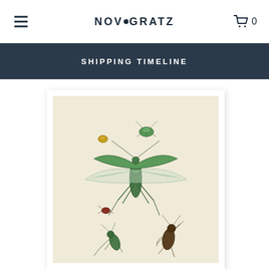NOVOGRATZ
SHIPPING TIMELINE
[Figure (illustration): Vintage botanical/entomological illustration of insects including a large green mantis/dragonfly with spread wings, smaller beetles and insects, displayed in a white frame]